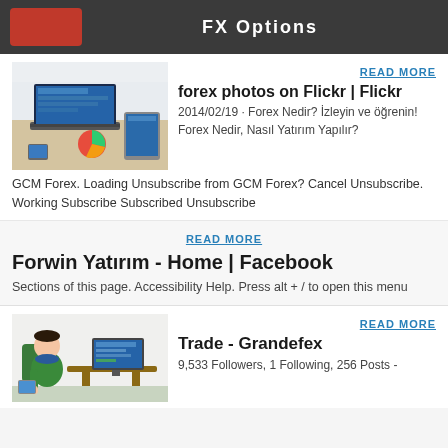FX Options
[Figure (screenshot): Laptop and tablet on a desk showing trading/finance website]
READ MORE
forex photos on Flickr | Flickr
2014/02/19 · Forex Nedir? İzleyin ve öğrenin! Forex Nedir, Nasıl Yatırım Yapılır?
GCM Forex. Loading Unsubscribe from GCM Forex? Cancel Unsubscribe. Working Subscribe Subscribed Unsubscribe
READ MORE
Forwin Yatırım - Home | Facebook
Sections of this page. Accessibility Help. Press alt + / to open this menu
[Figure (illustration): Cartoon illustration of person at a computer trading]
READ MORE
Trade - Grandefex
9,533 Followers, 1 Following, 256 Posts -